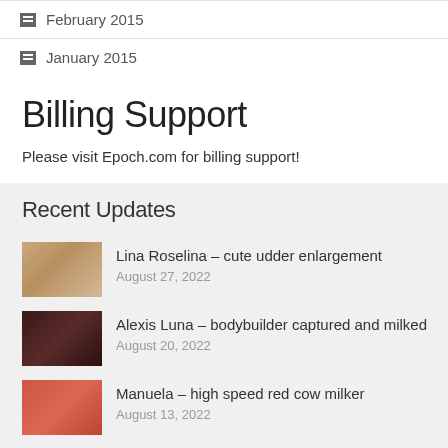February 2015
January 2015
Billing Support
Please visit Epoch.com for billing support!
Recent Updates
Lina Roselina – cute udder enlargement
August 27, 2022
Alexis Luna – bodybuilder captured and milked
August 20, 2022
Manuela – high speed red cow milker
August 13, 2022